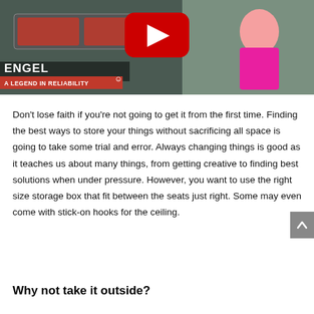[Figure (screenshot): YouTube video thumbnail showing a woman in a pink shirt gesturing toward Engel brand storage boxes/drawers in the back of a vehicle. The Engel logo and tagline 'A LEGEND IN RELIABILITY' appear in the lower left. A red YouTube play button icon is centered at the top.]
Don't lose faith if you're not going to get it from the first time. Finding the best ways to store your things without sacrificing all space is going to take some trial and error. Always changing things is good as it teaches us about many things, from getting creative to finding best solutions when under pressure. However, you want to use the right size storage box that fit between the seats just right. Some may even come with stick-on hooks for the ceiling.
Why not take it outside?